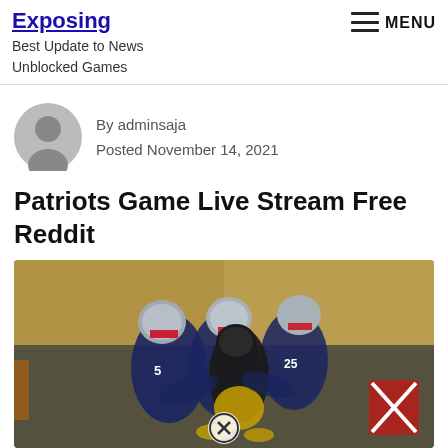Exposing
Best Update to News Unblocked Games
MENU
By adminsaja
Posted November 14, 2021
Patriots Game Live Stream Free Reddit
[Figure (photo): Football game action photo showing New England Patriots players in navy/white uniforms and silver helmets tackling a Pittsburgh Steelers player in black and gold uniform on the field]